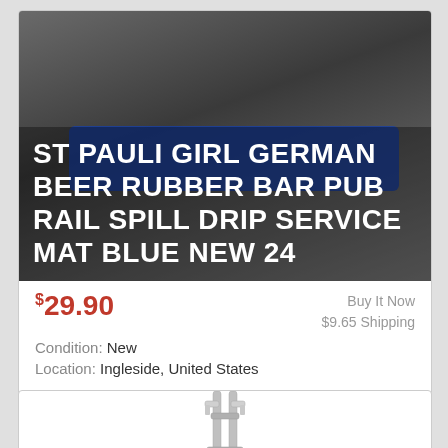[Figure (photo): Product listing image showing ST PAULI GIRL GERMAN BEER RUBBER BAR PUB RAIL SPILL DRIP SERVICE MAT BLUE NEW 24 — a blue rubber bar mat with white St. Pauli Girl branding on a dark background]
ST PAULI GIRL GERMAN BEER RUBBER BAR PUB RAIL SPILL DRIP SERVICE MAT BLUE NEW 24
$29.90
Buy It Now
$9.65 Shipping
Condition: New
Location: Ingleside, United States
Two things for sure - it will get sold sooner rather than later, and that's better for both of us. MATERIAL: Rubber. COLOR: Bright Blue, black, and white. … more
[Figure (photo): Bottom of a second product listing showing a chrome beer tap tower]